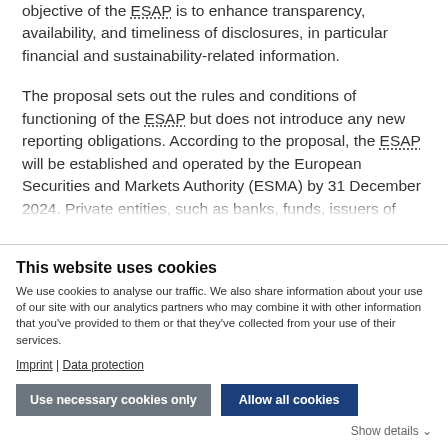objective of the [ESAP] is to enhance transparency, availability, and timeliness of disclosures, in particular financial and sustainability-related information.
The proposal sets out the rules and conditions of functioning of the ESAP but does not introduce any new reporting obligations. According to the proposal, the ESAP will be established and operated by the European Securities and Markets Authority (ESMA) by 31 December 2024. Private entities, such as banks, funds, issuers of…
This website uses cookies
We use cookies to analyse our traffic. We also share information about your use of our site with our analytics partners who may combine it with other information that you've provided to them or that they've collected from your use of their services.
Imprint | Data protection
Use necessary cookies only
Allow all cookies
Show details